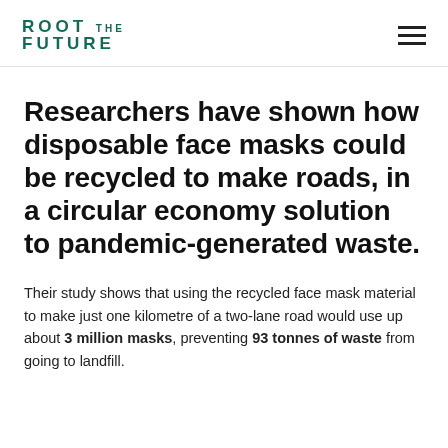ROOT THE FUTURE
Researchers have shown how disposable face masks could be recycled to make roads, in a circular economy solution to pandemic-generated waste.
Their study shows that using the recycled face mask material to make just one kilometre of a two-lane road would use up about 3 million masks, preventing 93 tonnes of waste from going to landfill.